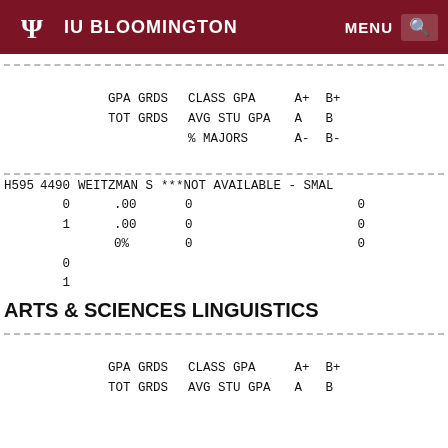IU BLOOMINGTON  MENU  🔍
| GPA GRDS | CLASS GPA | A+ | B+ | TOT GRDS | AVG STU GPA | A | B | % MAJORS | A- | B- |
| --- | --- | --- | --- | --- | --- | --- | --- | --- | --- | --- |
| GPA GRDS | CLASS GPA | A+ | B+ |
| TOT GRDS | AVG STU GPA | A | B |
|  | % MAJORS | A- | B- |
| H595 | 4490 | WEITZMAN S | ***NOT AVAILABLE - SMAL |
|  | 0 | .00 | 0 | 0 |
|  | 1 | .00 | 0 | 0 |
|  |  | 0% | 0 | 0 |
|  | 0 |  |  |  |
|  | 1 |  |  |  |
ARTS & SCIENCES LINGUISTICS
| GPA GRDS | CLASS GPA | A+ | B+ | TOT GRDS | AVG STU GPA | A | B |
| --- | --- | --- | --- | --- | --- | --- | --- |
| GPA GRDS | CLASS GPA | A+ | B+ |
| TOT GRDS | AVG STU GPA | A | B |